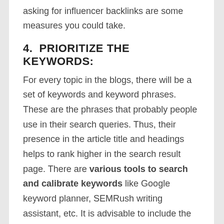asking for influencer backlinks are some measures you could take.
4.  PRIORITIZE THE KEYWORDS:
For every topic in the blogs, there will be a set of keywords and keyword phrases. These are the phrases that probably people use in their search queries. Thus, their presence in the article title and headings helps to rank higher in the search result page. There are various tools to search and calibrate keywords like Google keyword planner, SEMRush writing assistant, etc. It is advisable to include the focus keyword in the meta description of the blog. The summary of the article is displayed along with the link on the search result page and social media sites.